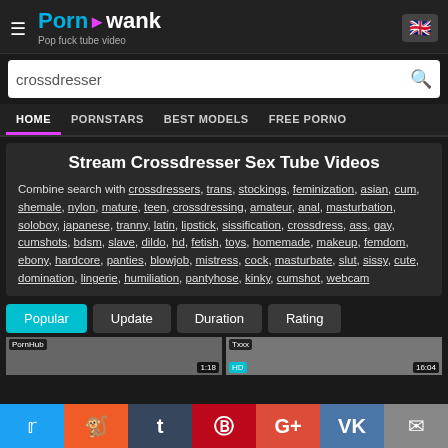PornAwank - Pop fuck tube video
crossdresser
HOME | PORNSTARS | BEST MODELS | FREE PORNO
Stream Crossdresser Sex Tube Videos
Combine search with crossdressers, trans, stockings, feminization, asian, cum, shemale, nylon, mature, teen, crossdressing, amateur, anal, masturbation, soloboy, japanese, tranny, latin, lipstick, sissification, crossdress, ass, gay, cumshots, bdsm, slave, dildo, hd, fetish, toys, homemade, makeup, femdom, ebony, hardcore, panties, blowjob, mistress, cock, masturbate, slut, sissy, cute, domination, lingerie, humiliation, pantyhose, kinky, cumshot, webcam
Popular | Update | Duration | Rating
[Figure (screenshot): Thumbnail previews of video results - PornHub 1:18 and Txxx HD 16:04]
Twitter | Reddit | Tumblr | Pinterest | G+ | VK | Email